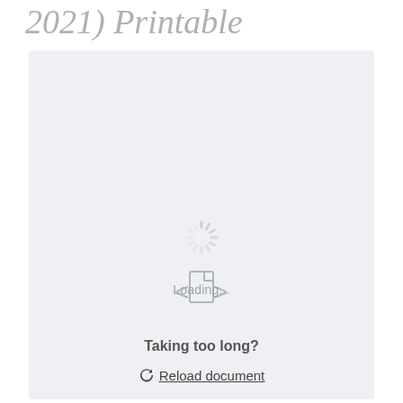2021) Printable
[Figure (screenshot): A document loading interface showing a spinner icon, a document icon overlaid with loading text 'Loading...', the message 'Taking too long?' and a 'Reload document' link with a refresh icon. The background is light gray/blue-gray.]